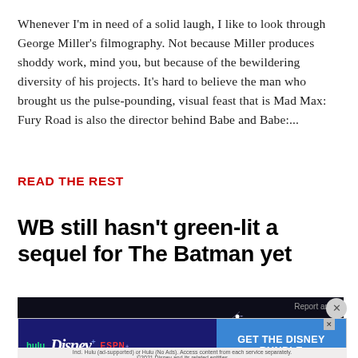Whenever I'm in need of a solid laugh, I like to look through George Miller's filmography. Not because Miller produces shoddy work, mind you, but because of the bewildering diversity of his projects. It's hard to believe the man who brought us the pulse-pounding, visual feast that is Mad Max: Fury Road is also the director behind Babe and Babe:...
READ THE REST
WB still hasn't green-lit a sequel for The Batman yet
[Figure (photo): Dark cinematic image, mostly black with a small bright light/comet visible, likely a still from The Batman movie]
Report an ad
[Figure (other): Disney Bundle advertisement banner featuring hulu, Disney+, and ESPN+ logos with 'GET THE DISNEY BUNDLE' call to action on blue background. Footer text: Incl. Hulu (ad-supported) or Hulu (No Ads). Access content from each service separately. ©2021 Disney and its related entities]